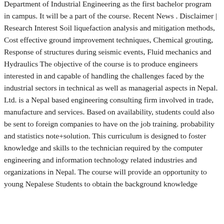Department of Industrial Engineering as the first bachelor program in campus. It will be a part of the course. Recent News . Disclaimer | Research Interest Soil liquefaction analysis and mitigation methods, Cost effective ground improvement techniques, Chemical grouting, Response of structures during seismic events, Fluid mechanics and Hydraulics The objective of the course is to produce engineers interested in and capable of handling the challenges faced by the industrial sectors in technical as well as managerial aspects in Nepal. Ltd. is a Nepal based engineering consulting firm involved in trade, manufacture and services. Based on availability, students could also be sent to foreign companies to have on the job training. probability and statistics note+solution. This curriculum is designed to foster knowledge and skills to the technician required by the computer engineering and information technology related industries and organizations in Nepal. The course will provide an opportunity to young Nepalese Students to obtain the background knowledge